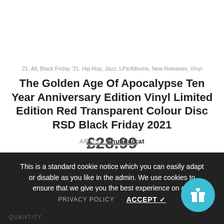21, All, Black Friday '21, Hip Hop, Jazz, LPs/Albums, New Releases, Vinyl
The Golden Age Of Apocalypse Ten Year Anniversary Edition Vinyl Limited Edition Red Transparent Colour Disc RSD Black Friday 2021
ARTIST: Thundercat
£28.99
This is a standard cookie notice which you can easily adapt or disable as you like in the admin. We use cookies to ensure that we give you the best experience on our website.
DELIVERY & RETURN
MESSAGE
PRIVACY POLICY
ACCEPT ✓
QUANTITY